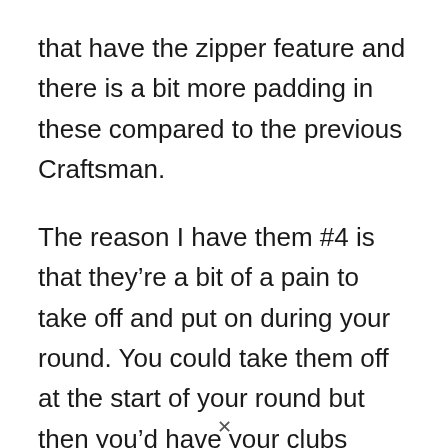that have the zipper feature and there is a bit more padding in these compared to the previous Craftsman.
The reason I have them #4 is that they're a bit of a pain to take off and put on during your round. You could take them off at the start of your round but then you'd have your clubs clanking around. They're also